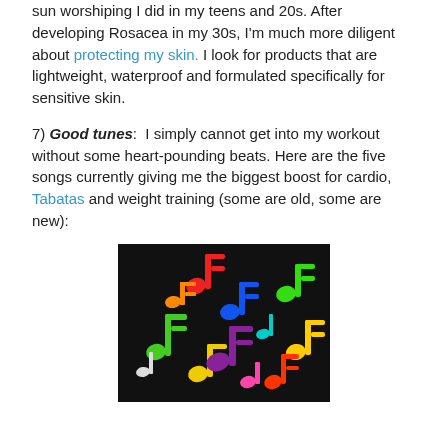sun worshiping I did in my teens and 20s. After developing Rosacea in my 30s, I'm much more diligent about protecting my skin. I look for products that are lightweight, waterproof and formulated specifically for sensitive skin.
7) Good tunes: I simply cannot get into my workout without some heart-pounding beats. Here are the five songs currently giving me the biggest boost for cardio, Tabatas and weight training (some are old, some are new):
[Figure (illustration): Colorful musical notes scattered on a black background, showing various neon-colored music notes in green, red, yellow, purple, blue, and other colors]